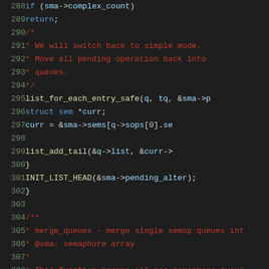[Figure (screenshot): Source code snippet from a C file showing lines 288-309, with syntax highlighting. Lines show kernel semaphore code including complex_count check, comment block about switching to simple mode, list_for_each_entry_safe loop, INIT_LIST_HEAD call, and start of merge_queues function documentation comment.]